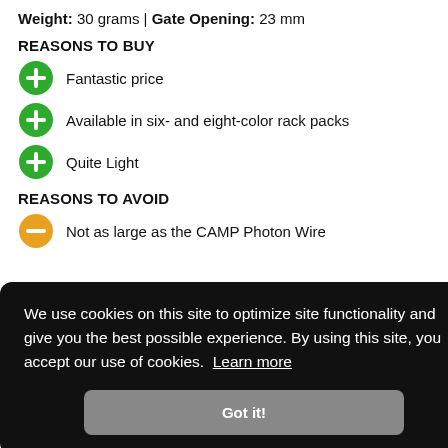Weight: 30 grams | Gate Opening: 23 mm
REASONS TO BUY
Fantastic price
Available in six- and eight-color rack packs
Quite Light
REASONS TO AVOID
Not as large as the CAMP Photon Wire
We use cookies on this site to optimize site functionality and give you the best possible experience. By using this site, you accept our use of cookies. Learn more
Got it!
one of the highest closed-gate strengths in our test group (24